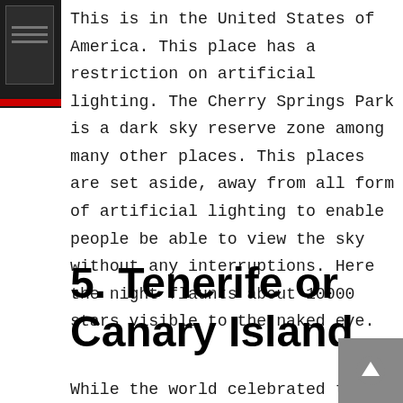This is in the United States of America. This place has a restriction on artificial lighting. The Cherry Springs Park is a dark sky reserve zone among many other places. This places are set aside, away from all form of artificial lighting to enable people be able to view the sky without any interruptions. Here the night flaunts about 10000 stars visible to the naked eye.
5. Tenerife or Canary Island.
While the world celebrated the viewing of fireworks and other spectacular artificial lights, there is nothing that can come close to comparing to the delight of viewing shooting stars in the sky